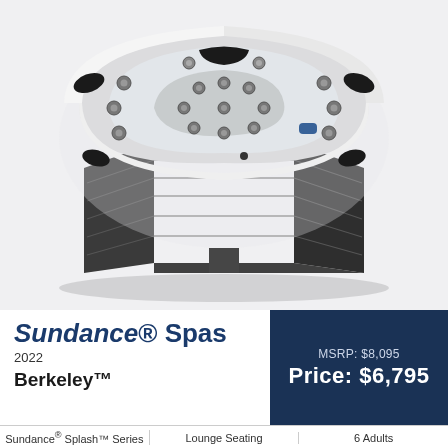[Figure (photo): White and dark gray Sundance Spas Berkeley hot tub with multiple jets and lounge seating, viewed from above at an angle, on a light gray background.]
Sundance Spas
2022
Berkeley™
MSRP: $8,095
Price: $6,795
Sundance® Splash™ Series   Lounge Seating   6 Adults